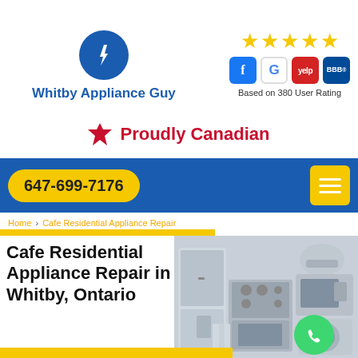[Figure (logo): Whitby Appliance Guy logo: blue circle with lightning bolt icon and company name below]
[Figure (infographic): Five gold stars rating with Facebook, Google, Yelp, and BBB social/review icons, and text 'Based on 380 User Rating']
🍁 Proudly Canadian
647-699-7176
Home > Cafe Residential Appliance Repair
Cafe Residential Appliance Repair in Whitby, Ontario
[Figure (photo): Photo of home appliances including refrigerator, iron, stove, microwave, washing machine, and radiator]